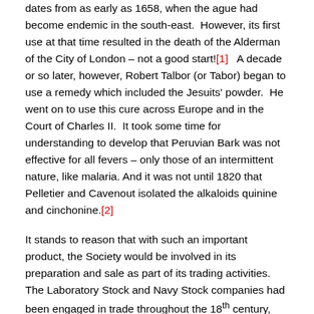dates from as early as 1658, when the ague had become endemic in the south-east. However, its first use at that time resulted in the death of the Alderman of the City of London – not a good start![1]  A decade or so later, however, Robert Talbor (or Tabor) began to use a remedy which included the Jesuits' powder.  He went on to use this cure across Europe and in the Court of Charles II.  It took some time for understanding to develop that Peruvian Bark was not effective for all fevers – only those of an intermittent nature, like malaria. And it was not until 1820 that Pelletier and Cavenout isolated the alkaloids quinine and cinchonine.[2]
It stands to reason that with such an important product, the Society would be involved in its preparation and sale as part of its trading activities.  The Laboratory Stock and Navy Stock companies had been engaged in trade throughout the 18th century, and in 1810, during the Peninsular Wars, an approach from the Army Medical Board opened the prospect of providing the Army's medical supplies.
Questions of quantity and quality: The Archives show that a special